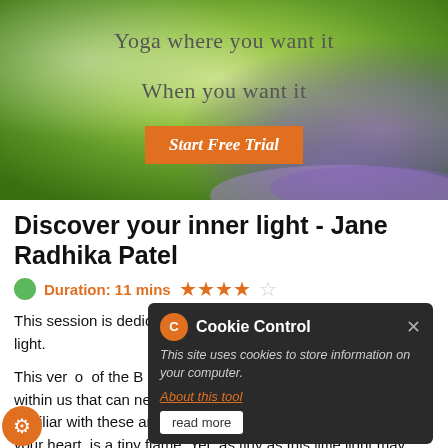[Figure (screenshot): Hero section of a yoga website with blurred green/purple background showing yoga mats. Text overlaid: 'Yoga where you want it', 'When you want it', and an orange 'Start Free Trial' button.]
Discover your inner light - Jane Radhika Patel
Duration: 11 mins ★★★★☆
This session is dedicated to helping you re-discover your inner light.
This verse of the Bhagavad Gita represents a light that exists within us that can never be extinguished. As you become familiar with these ancient Sanskrit sounds, imagine that within your heart, is a tiny flame. Yet, as tiny as this little light may seem, it has a power to dispel darkness.
[Figure (screenshot): Cookie Control popup dialog with dark background. Header shows cookie icon with 'C' and 'Cookie Control' title with X close button. Body text: 'This site uses cookies to store information on your computer.' Link: 'About this tool'. Button: 'read more'.]